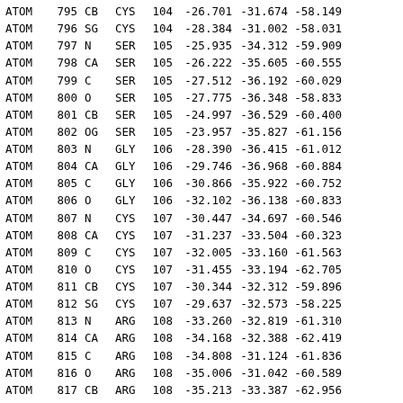| Record | Num | Atom | Res | ResNum | X | Y | Z |  |
| --- | --- | --- | --- | --- | --- | --- | --- | --- |
| ATOM | 795 | CB | CYS | 104 | -26.701 | -31.674 | -58.149 |  |
| ATOM | 796 | SG | CYS | 104 | -28.384 | -31.002 | -58.031 |  |
| ATOM | 797 | N | SER | 105 | -25.935 | -34.312 | -59.909 |  |
| ATOM | 798 | CA | SER | 105 | -26.222 | -35.605 | -60.555 |  |
| ATOM | 799 | C | SER | 105 | -27.512 | -36.192 | -60.029 |  |
| ATOM | 800 | O | SER | 105 | -27.775 | -36.348 | -58.833 |  |
| ATOM | 801 | CB | SER | 105 | -24.997 | -36.529 | -60.400 |  |
| ATOM | 802 | OG | SER | 105 | -23.957 | -35.827 | -61.156 |  |
| ATOM | 803 | N | GLY | 106 | -28.390 | -36.415 | -61.012 |  |
| ATOM | 804 | CA | GLY | 106 | -29.746 | -36.968 | -60.884 |  |
| ATOM | 805 | C | GLY | 106 | -30.866 | -35.922 | -60.752 |  |
| ATOM | 806 | O | GLY | 106 | -32.102 | -36.138 | -60.833 |  |
| ATOM | 807 | N | CYS | 107 | -30.447 | -34.697 | -60.546 |  |
| ATOM | 808 | CA | CYS | 107 | -31.237 | -33.504 | -60.323 |  |
| ATOM | 809 | C | CYS | 107 | -32.005 | -33.160 | -61.563 |  |
| ATOM | 810 | O | CYS | 107 | -31.455 | -33.194 | -62.705 |  |
| ATOM | 811 | CB | CYS | 107 | -30.344 | -32.312 | -59.896 |  |
| ATOM | 812 | SG | CYS | 107 | -29.637 | -32.573 | -58.225 |  |
| ATOM | 813 | N | ARG | 108 | -33.260 | -32.819 | -61.310 |  |
| ATOM | 814 | CA | ARG | 108 | -34.168 | -32.388 | -62.419 |  |
| ATOM | 815 | C | ARG | 108 | -34.808 | -31.124 | -61.836 |  |
| ATOM | 816 | O | ARG | 108 | -35.006 | -31.042 | -60.589 |  |
| ATOM | 817 | CB | ARG | 108 | -35.213 | -33.387 | -62.956 |  |
| ATOM | 818 | CG | ARG | 108 | -34.658 | -34.621 | -63.690 |  |
| ATOM | 819 | CD | ARG | 108 | -35.496 | -35.833 | -63.295 |  |
| ATOM | 820 | NE | ARG | 108 | -36.570 | -35.887 | -64.267 |  |
| ATOM | 821 | CZ | ARG | 108 | -37.799 | -36.400 | -64.294 |  |
| ATOM | 822 | NH1 | ARG | 108 | -38.391 | -37.025 | -63.259 |  |
| ATOM | 823 | NH2 | ARG | 108 | -38.456 | -36.271 | -65.457 |  |
| ATOM | 824 | N | GLY | 109 | -35.077 | -30.211 | -62.770 |  |